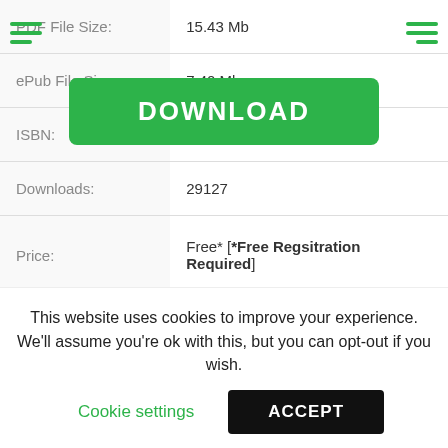| Field | Value |
| --- | --- |
| PDF File Size: | 15.43 Mb |
| ePub File Size: | 7.40 Mb |
| ISBN: | 668-3-37873-715-8 |
| Downloads: | 29127 |
| Price: | Free* [*Free Regsitration Required] |
| Uploader: | Doull |
This website uses cookies to improve your experience. We'll assume you're ok with this, but you can opt-out if you wish.
Cookie settings
ACCEPT